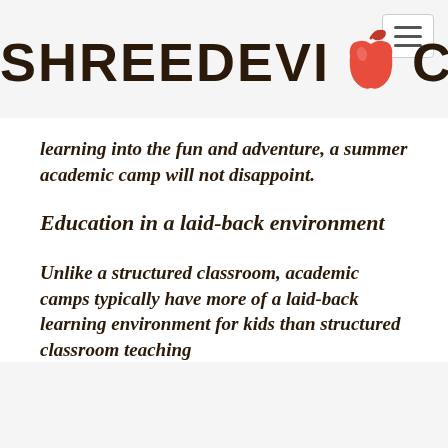[Figure (logo): Shreedevi College logo with apple icon between the words SHREEDEVI and COLLEGE in dark brown bold stylized font]
learning into the fun and adventure, a summer academic camp will not disappoint.
Education in a laid-back environment
Unlike a structured classroom, academic camps typically have more of a laid-back learning environment for kids than structured classroom teaching